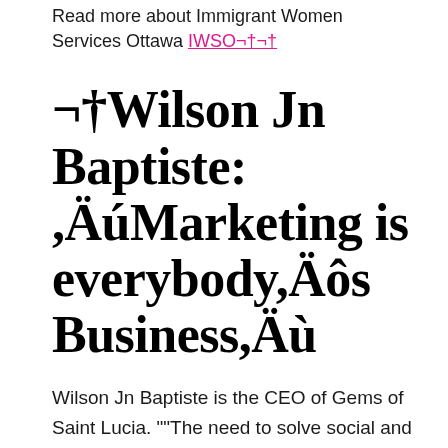Read more about Immigrant Women Services Ottawa IWSO¬†¬†
¬†Wilson Jn Baptiste: ,ÄúMarketing is everybody,Äôs Business,Äù
Wilson Jn Baptiste is the CEO of Gems of Saint Lucia. ""The need to solve social and economic problems in Small Island Developing States has always motivated me to broaden my knowledge and to spend time with those most affected by social and economic hardships. As a result, I have